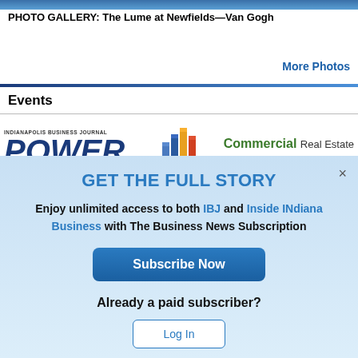PHOTO GALLERY: The Lume at Newfields—Van Gogh
More Photos
Events
[Figure (logo): Indianapolis Business Journal Power Breakfast Series — Commercial Real Estate and Construction logo with colorful building bar chart icon]
GET THE FULL STORY
Enjoy unlimited access to both IBJ and Inside INdiana Business with The Business News Subscription
Subscribe Now
Already a paid subscriber?
Log In